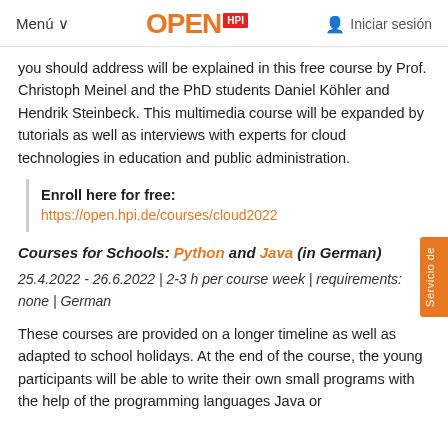Menú  OPEN HPI  Iniciar sesión
you should address will be explained in this free course by Prof. Christoph Meinel and the PhD students Daniel Köhler and Hendrik Steinbeck. This multimedia course will be expanded by tutorials as well as interviews with experts for cloud technologies in education and public administration.
Enroll here for free:
https://open.hpi.de/courses/cloud2022
Courses for Schools: Python and Java (in German)
25.4.2022 - 26.6.2022 | 2-3 h per course week | requirements: none | German
These courses are provided on a longer timeline as well as adapted to school holidays. At the end of the course, the young participants will be able to write their own small programs with the help of the programming languages Java or